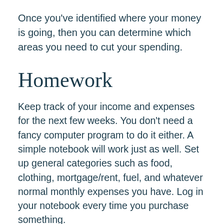Once you've identified where your money is going, then you can determine which areas you need to cut your spending.
Homework
Keep track of your income and expenses for the next few weeks. You don't need a fancy computer program to do it either. A simple notebook will work just as well. Set up general categories such as food, clothing, mortgage/rent, fuel, and whatever normal monthly expenses you have. Log in your notebook every time you purchase something.